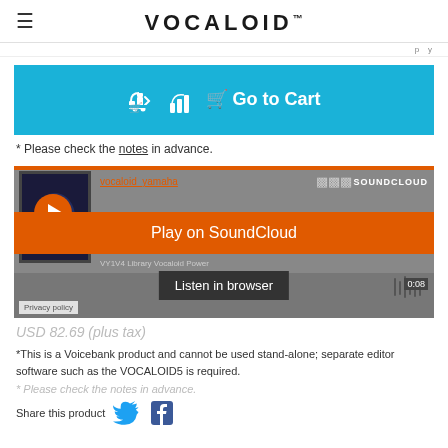VOCALOID™
* Please check the notes in advance.
[Figure (screenshot): SoundCloud embedded player showing vocaloid_yamaha with orange Play on SoundCloud overlay and Listen in browser button]
USD 82.69 (plus tax)
*This is a Voicebank product and cannot be used stand-alone; separate editor software such as the VOCALOID5 is required.
* Please check the notes in advance.
Share this product